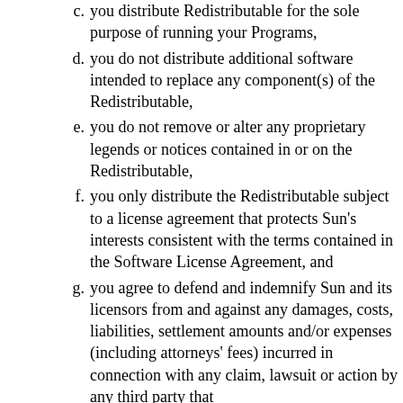c. you distribute Redistributable for the sole purpose of running your Programs,
d. you do not distribute additional software intended to replace any component(s) of the Redistributable,
e. you do not remove or alter any proprietary legends or notices contained in or on the Redistributable,
f. you only distribute the Redistributable subject to a license agreement that protects Sun's interests consistent with the terms contained in the Software License Agreement, and
g. you agree to defend and indemnify Sun and its licensors from and against any damages, costs, liabilities, settlement amounts and/or expenses (including attorneys' fees) incurred in connection with any claim, lawsuit or action by any third party that